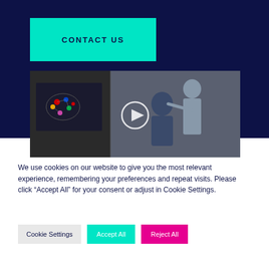CONTACT US
[Figure (screenshot): Video thumbnail showing a person seated at a desk with a brain interface diagram on a monitor, another person adjusting something on the seated person's head. A play button circle is visible in the center.]
We use cookies on our website to give you the most relevant experience, remembering your preferences and repeat visits. Please click “Accept All” for your consent or adjust in Cookie Settings.
Cookie Settings
Accept All
Reject All